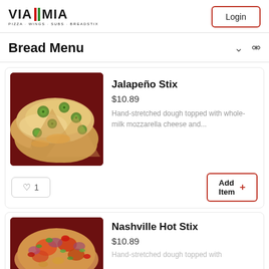[Figure (logo): Via Mia logo with green and red vertical bars between VIA and MIA, tagline: PIZZA · WINGS · SUBS · BREADSTIX]
Login
Bread Menu
[Figure (photo): Photo of Jalapeño Stix — flatbread topped with jalapeño slices and cheese on dark red background]
Jalapeño Stix
$10.89
Hand-stretched dough topped with whole-milk mozzarella cheese and...
♡ 1
Add Item +
[Figure (photo): Photo of Nashville Hot Stix — flatbread topped with colorful vegetables and peppers on dark red background]
Nashville Hot Stix
$10.89
Hand-stretched dough topped with